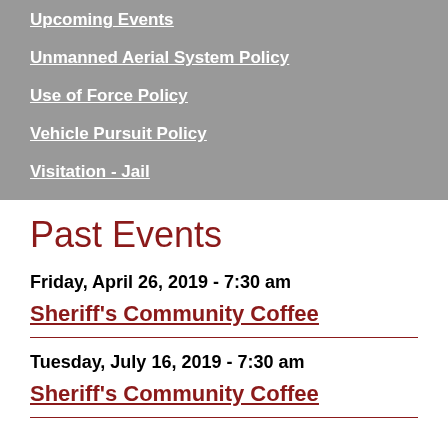Upcoming Events
Unmanned Aerial System Policy
Use of Force Policy
Vehicle Pursuit Policy
Visitation - Jail
Past Events
Friday, April 26, 2019 - 7:30 am
Sheriff's Community Coffee
Tuesday, July 16, 2019 - 7:30 am
Sheriff's Community Coffee